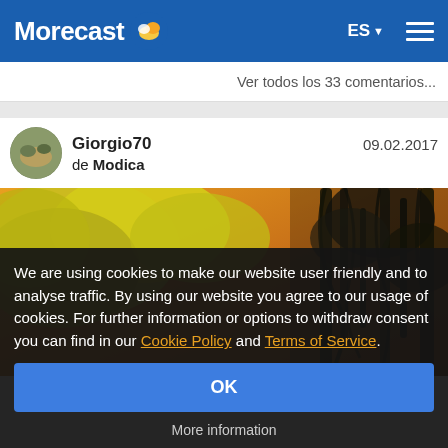Morecast ES
Ver todos los 33 comentarios...
Giorgio70 de Modica — 09.02.2017
[Figure (photo): Outdoor photo showing golden-yellow foliage and dark tree branches against an orange-toned background, nature scene.]
We are using cookies to make our website user friendly and to analyse traffic. By using our website you agree to our usage of cookies. For further information or options to withdraw consent you can find in our Cookie Policy and Terms of Service.
OK
More information